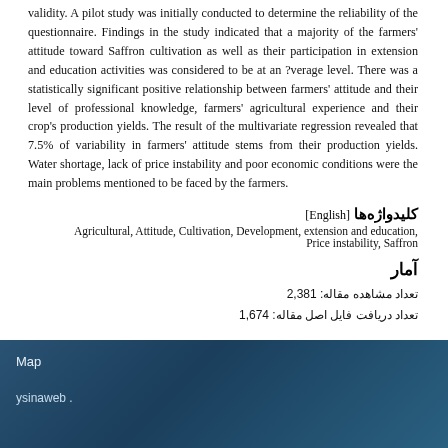validity. A pilot study was initially conducted to determine the reliability of the questionnaire. Findings in the study indicated that a majority of the farmers' attitude toward Saffron cultivation as well as their participation in extension and education activities was considered to be at an ?verage level. There was a statistically significant positive relationship between farmers' attitude and their level of professional knowledge, farmers' agricultural experience and their crop's production yields. The result of the multivariate regression revealed that 7.5% of variability in farmers' attitude stems from their production yields. Water shortage, lack of price instability and poor economic conditions were the main problems mentioned to be faced by the farmers.
کلیدواژه‌ها [English]
Agricultural, Attitude, Cultivation, Development, extension and education, Price instability, Saffron
آمار
تعداد مشاهده مقاله: 2,381
تعداد دریافت فایل اصل مقاله: 1,674
Map
ysinaweb .